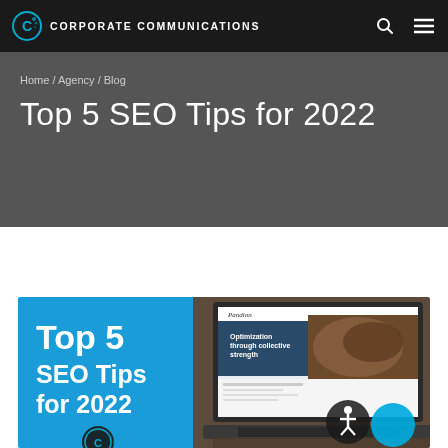CORPORATE COMMUNICATIONS
Home / Agency / Blog
Top 5 SEO Tips for 2022
[Figure (illustration): Promotional banner image showing a laptop with a website on screen and bold white text reading 'Top 5 SEO Tips for 2022' on a blue background, with a Corporate Communications logo at the bottom.]